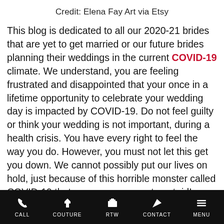Credit: Elena Fay Art via Etsy
This blog is dedicated to all our 2020-21 brides that are yet to get married or our future brides planning their weddings in the current COVID-19 climate. We understand, you are feeling frustrated and disappointed that your once in a lifetime opportunity to celebrate your wedding day is impacted by COVID-19. Do not feel guilty or think your wedding is not important, during a health crisis. You have every right to feel the way you do. However, you must not let this get you down. We cannot possibly put our lives on hold, just because of this horrible monster called COVID-19 that no one can seem to get rid! What we can do is continue our lives with what is within our control. You can still plan your wedding without having to cancel your wedding date all
CALL  COUTURE  RTW  CONTACT  MENU